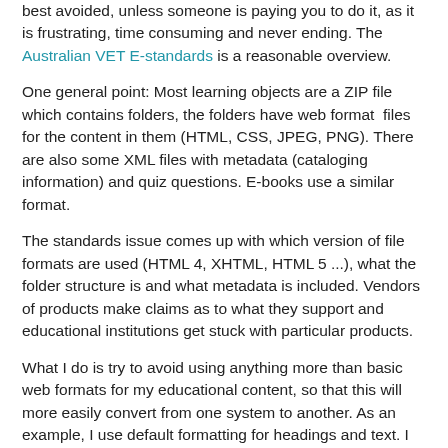best avoided, unless someone is paying you to do it, as it is frustrating, time consuming and never ending. The Australian VET E-standards is a reasonable overview.
One general point: Most learning objects are a ZIP file which contains folders, the folders have web format files for the content in them (HTML, CSS, JPEG, PNG). There are also some XML files with metadata (cataloging information) and quiz questions. E-books use a similar format.
The standards issue comes up with which version of file formats are used (HTML 4, XHTML, HTML 5 ...), what the folder structure is and what metadata is included. Vendors of products make claims as to what they support and educational institutions get stuck with particular products.
What I do is try to avoid using anything more than basic web formats for my educational content, so that this will more easily convert from one system to another. As an example, I use default formatting for headings and text. I do not specify the font, color, or size of text, so it will appear using the default of the system it is imported into. The result can look